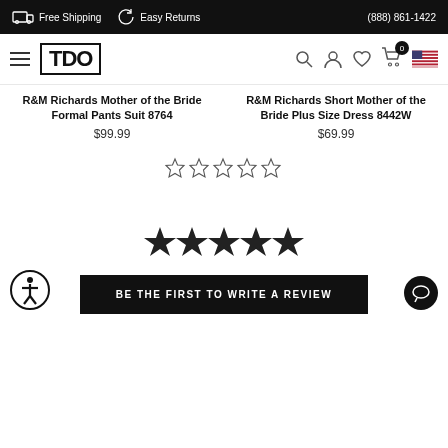Free Shipping   Easy Returns   (888) 861-1422
[Figure (logo): TDO brand logo with hamburger menu, search, user, wishlist, cart (0), and US flag icons in navigation bar]
R&M Richards Mother of the Bride Formal Pants Suit 8764
$99.99
R&M Richards Short Mother of the Bride Plus Size Dress 8442W
$69.99
[Figure (other): Five empty star rating icons]
[Figure (other): Five filled black star rating icons]
BE THE FIRST TO WRITE A REVIEW